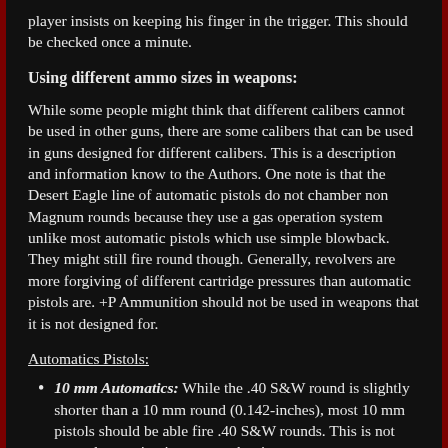player insists on keeping his finger in the trigger. This should be checked once a minute.
Using different ammo sizes in weapons:
While some people might think that different calibers cannot be used in other guns, there are some calibers that can be used in guns designed for different calibers. This is a description and information know to the Authors. One note is that the Desert Eagle line of automatic pistols do not chamber non Magnum rounds because they use a gas operation system unlike most automatic pistols which use simple blowback. They might still fire round though. Generally, revolvers are more forgiving of different cartridge pressures than automatic pistols are. +P Ammunition should not be used in weapons that it is not designed for.
Automatics Pistols:
10 mm Automatics: While the .40 S&W round is slightly shorter than a 10 mm round (0.142-inches), most 10 mm pistols should be able fire .40 S&W rounds. This is not normal operation in any case but is an emergency measure. There is some additional wear and the cartridge has some shape and size differences